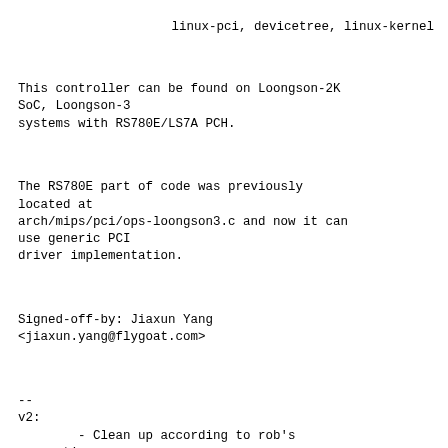linux-pci, devicetree, linux-kernel
This controller can be found on Loongson-2K SoC, Loongson-3
systems with RS780E/LS7A PCH.
The RS780E part of code was previously located at
arch/mips/pci/ops-loongson3.c and now it can use generic PCI
driver implementation.
Signed-off-by: Jiaxun Yang
<jiaxun.yang@flygoat.com>
--
v2:
        - Clean up according to rob's suggestions
        - Claim that it can't work as a module
v3:
        - Fix a typo
---
drivers/pci/controller/Kconfig    |   9 +
 drivers/pci/controller/Makefile   |   1 +
 drivers/pci/controller/pci-loongson.c | 257
+++++++++++++++++++++++++